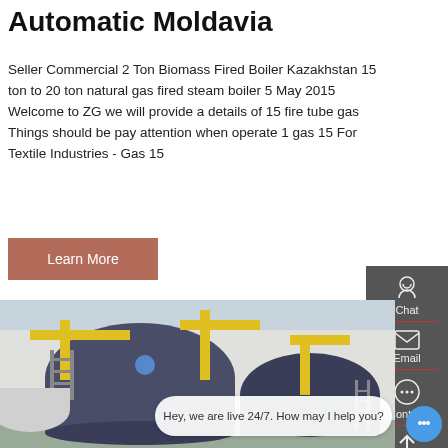Automatic Moldavia
Seller Commercial 2 Ton Biomass Fired Boiler Kazakhstan 15 ton to 20 ton natural gas fired steam boiler 5 May 2015 Welcome to ZG we will provide a details of 15 fire tube gas Things should be pay attention when operate 1 gas 15 For Textile Industries - Gas 15
[Figure (other): Button: Learn More with brownish-red background]
[Figure (photo): Industrial boiler facility with large cylindrical blue/gray boilers and yellow piping]
Hey, we are live 24/7. How may I help you?